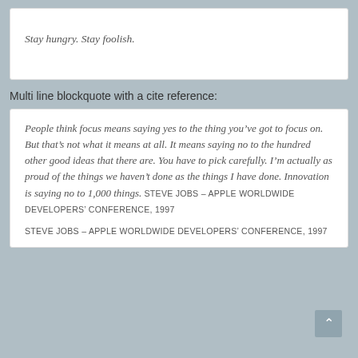Stay hungry. Stay foolish.
Multi line blockquote with a cite reference:
People think focus means saying yes to the thing you’ve got to focus on. But that’s not what it means at all. It means saying no to the hundred other good ideas that there are. You have to pick carefully. I’m actually as proud of the things we haven’t done as the things I have done. Innovation is saying no to 1,000 things. STEVE JOBS – APPLE WORLDWIDE DEVELOPERS’ CONFERENCE, 1997
STEVE JOBS – APPLE WORLDWIDE DEVELOPERS’ CONFERENCE, 1997